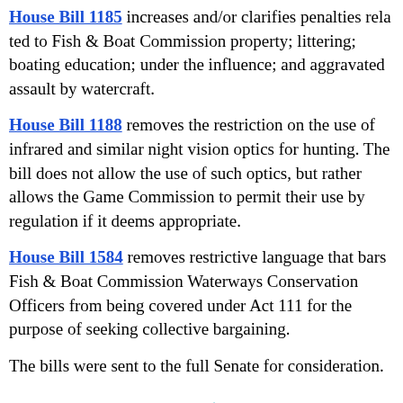House Bill 1185 increases and/or clarifies penalties related to Fish & Boat Commission property; littering; boating education; under the influence; and aggravated assault by watercraft.
House Bill 1188 removes the restriction on the use of infrared and similar night vision optics for hunting. The bill does not allow the use of such optics, but rather allows the Game Commission to permit their use by regulation if it deems appropriate.
House Bill 1584 removes restrictive language that bars Fish & Boat Commission Waterways Conservation Officers from being covered under Act 111 for the purpose of seeking collective bargaining.
The bills were sent to the full Senate for consideration.
Erie County to Receive $24.3 Million in COVID-19 Relief Funds
I am pleased to report that Erie County will receive more than from the state for its COVID-19 relief efforts from a bill an